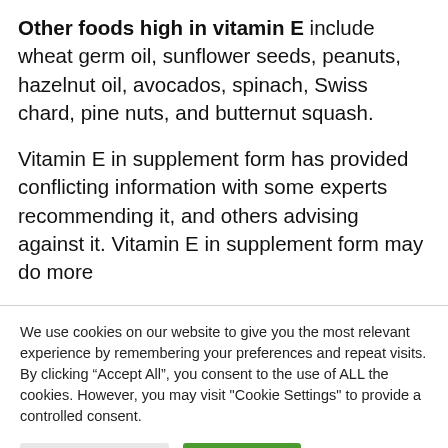Other foods high in vitamin E include wheat germ oil, sunflower seeds, peanuts, hazelnut oil, avocados, spinach, Swiss chard, pine nuts, and butternut squash.
Vitamin E in supplement form has provided conflicting information with some experts recommending it, and others advising against it. Vitamin E in supplement form may do more
We use cookies on our website to give you the most relevant experience by remembering your preferences and repeat visits. By clicking “Accept All”, you consent to the use of ALL the cookies. However, you may visit "Cookie Settings" to provide a controlled consent.